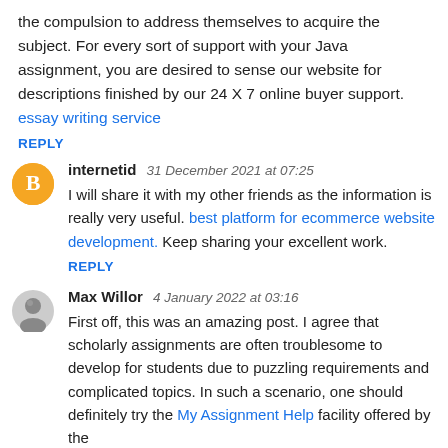the compulsion to address themselves to acquire the subject. For every sort of support with your Java assignment, you are desired to sense our website for descriptions finished by our 24 X 7 online buyer support. essay writing service
REPLY
internetid  31 December 2021 at 07:25
I will share it with my other friends as the information is really very useful. best platform for ecommerce website development. Keep sharing your excellent work.
REPLY
Max Willor  4 January 2022 at 03:16
First off, this was an amazing post. I agree that scholarly assignments are often troublesome to develop for students due to puzzling requirements and complicated topics. In such a scenario, one should definitely try the My Assignment Help facility offered by the